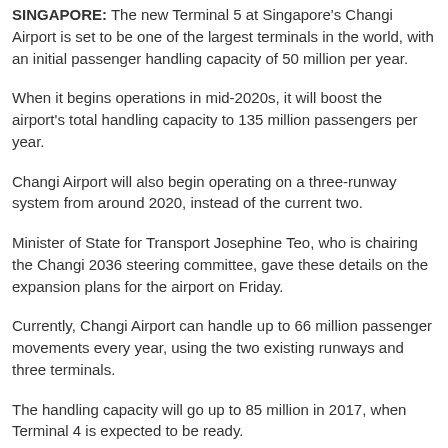SINGAPORE: The new Terminal 5 at Singapore's Changi Airport is set to be one of the largest terminals in the world, with an initial passenger handling capacity of 50 million per year.
When it begins operations in mid-2020s, it will boost the airport's total handling capacity to 135 million passengers per year.
Changi Airport will also begin operating on a three-runway system from around 2020, instead of the current two.
Minister of State for Transport Josephine Teo, who is chairing the Changi 2036 steering committee, gave these details on the expansion plans for the airport on Friday.
Currently, Changi Airport can handle up to 66 million passenger movements every year, using the two existing runways and three terminals.
The handling capacity will go up to 85 million in 2017, when Terminal 4 is expected to be ready.